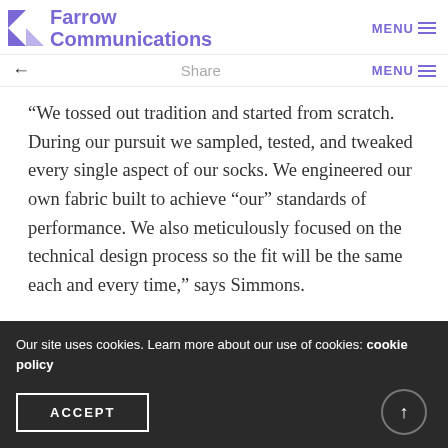Farrow Communications  MENU
← Share MENU
“We tossed out tradition and started from scratch. During our pursuit we sampled, tested, and tweaked every single aspect of our socks. We engineered our own fabric built to achieve “our” standards of performance. We also meticulously focused on the technical design process so the fit will be the same each and every time,” says Simmons.
Our site uses cookies. Learn more about our use of cookies: cookie policy
ACCEPT